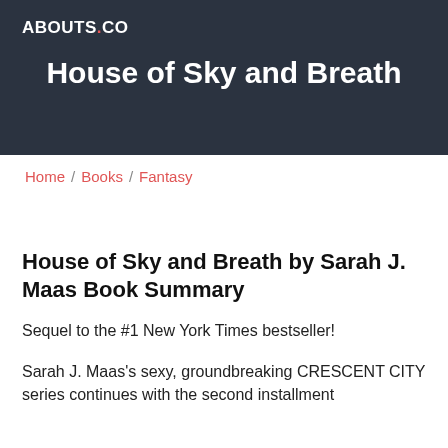ABOUTS.CO
House of Sky and Breath
Home / Books / Fantasy
House of Sky and Breath by Sarah J. Maas Book Summary
Sequel to the #1 New York Times bestseller!
Sarah J. Maas's sexy, groundbreaking CRESCENT CITY series continues with the second installment